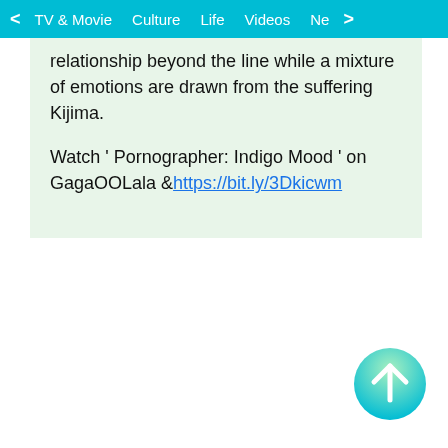< TV & Movie   Culture   Life   Videos   Ne >
relationship beyond the line while a mixture of emotions are drawn from the suffering Kijima.
Watch ' Pornographer: Indigo Mood ' on GagaOOLala 🔗https://bit.ly/3Dkicwm
[Figure (other): Scroll-to-top circular button with upward arrow, gradient from light green to teal]